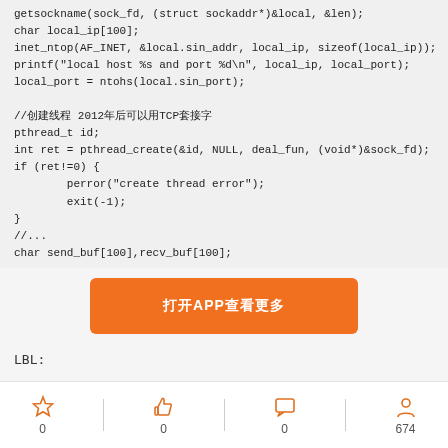getsockname(sock_fd, (struct sockaddr*)&local, &len);
char local_ip[100];
inet_ntop(AF_INET, &local.sin_addr, local_ip, sizeof(local_ip));
printf("local host %s and port %d\n", local_ip, local_port);
local_port = ntohs(local.sin_port);

//创建线程 2012年后可以用TCP套接字
pthread_t id;
int ret = pthread_create(&id, NULL, deal_fun, (void*)&sock_fd);
if (ret!=0) {
        perror("create thread error");
        exit(-1);
}
//...
char send_buf[100],recv_buf[100];
[Figure (other): Orange button overlay: 打开APP查看更多]
LBL:
[Figure (infographic): Footer bar with star (0), thumbs up (0), comment (0), and user/view (674) icons]